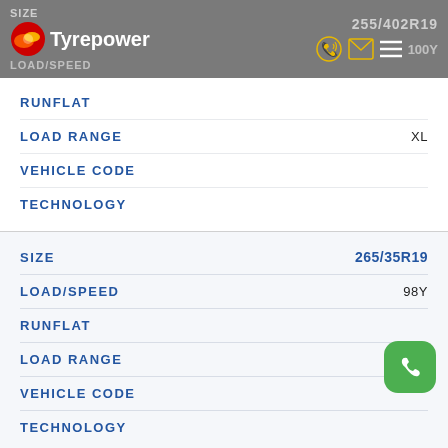SIZE 255/402R19 | Tyrepower | LOAD/SPEED 100Y
| FIELD | VALUE |
| --- | --- |
| RUNFLAT |  |
| LOAD RANGE | XL |
| VEHICLE CODE |  |
| TECHNOLOGY |  |
| FIELD | VALUE |
| --- | --- |
| SIZE | 265/35R19 |
| LOAD/SPEED | 98Y |
| RUNFLAT |  |
| LOAD RANGE | XL |
| VEHICLE CODE |  |
| TECHNOLOGY |  |